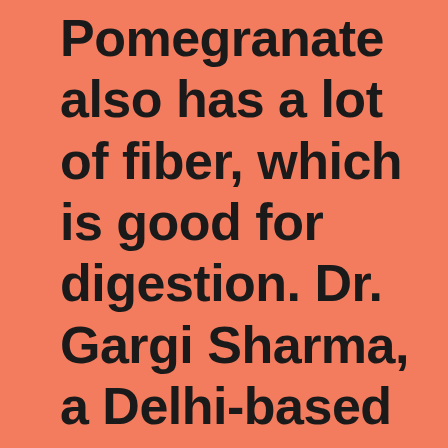Pomegranate also has a lot of fiber, which is good for digestion. Dr. Gargi Sharma, a Delhi-based weight